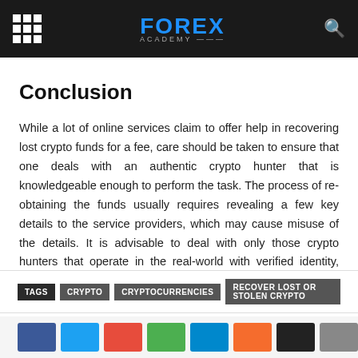FOREX ACADEMY
Conclusion
While a lot of online services claim to offer help in recovering lost crypto funds for a fee, care should be taken to ensure that one deals with an authentic crypto hunter that is knowledgeable enough to perform the task. The process of re-obtaining the funds usually requires revealing a few key details to the service providers, which may cause misuse of the details. It is advisable to deal with only those crypto hunters that operate in the real-world with verified identity, rather than trusting the flashing ads in the online world full of scammers with no verified identity.
TAGS  CRYPTO  CRYPTOCURRENCIES  RECOVER LOST OR STOLEN CRYPTO